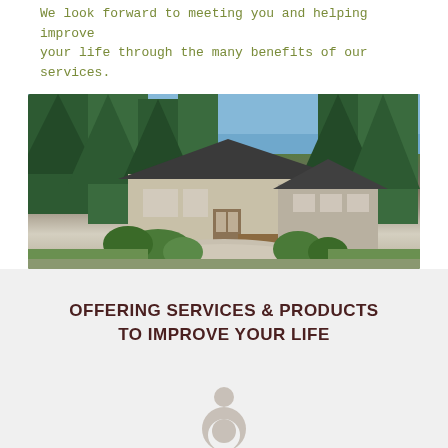We look forward to meeting you and helping improve your life through the many benefits of our services.
[Figure (photo): Exterior photo of a rural cabin/house surrounded by conifer trees, with a gravel driveway, wooden steps, and lush green shrubs in summer.]
OFFERING SERVICES & PRODUCTS TO IMPROVE YOUR LIFE
[Figure (illustration): Simple icon of a person, partially visible at the bottom of the page.]